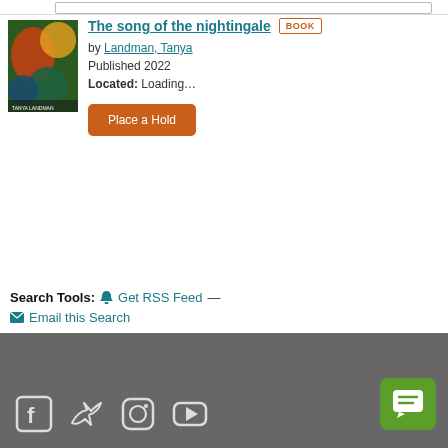[Figure (screenshot): Library catalog search result showing book 'The song of the nightingale' by Landman, Tanya, Published 2022, with Place a Hold button]
The song of the nightingale  BOOK
by Landman, Tanya
Published 2022
Located: Loading…
Place a Hold
Search Tools:  🔔 Get RSS Feed  —  ✉ Email this Search
Social media icons: Facebook, Twitter, Instagram, YouTube. Chat button.